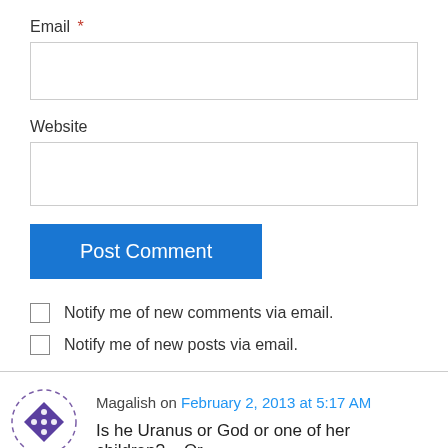Email *
Website
Post Comment
Notify me of new comments via email.
Notify me of new posts via email.
Magalish on February 2, 2013 at 5:17 AM
Is he Uranus or God or one of her children?... Or